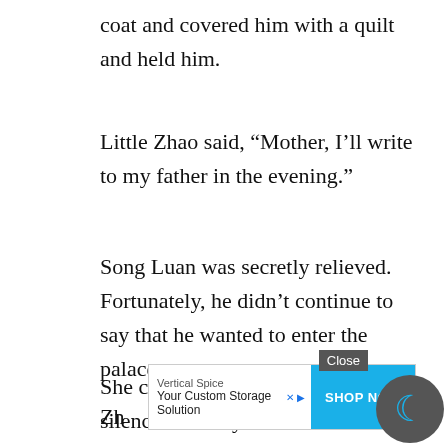coat and covered him with a quilt and held him.
Little Zhao said, “Mother, I’ll write to my father in the evening.”
Song Luan was secretly relieved. Fortunately, he didn’t continue to say that he wanted to enter the palace.
She closed her eyes and thought in silence that maybe after this winter, the capital would change.
Zh…